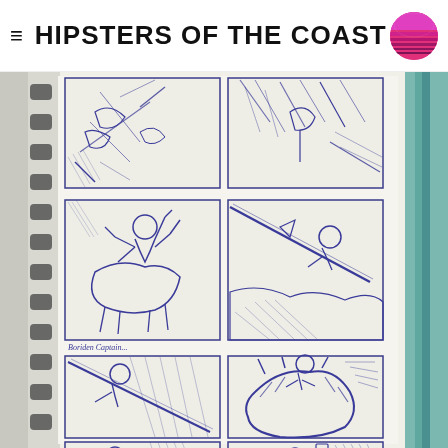HIPSTERS OF THE COAST
[Figure (illustration): Photo of a spiral-bound sketchbook showing storyboard sketches in blue ballpoint pen. The sketchbook contains 8 panels arranged in a 2-column grid, each showing rough action/fantasy scene sketches. Panels include warriors, mounted figures, a tiger, and combat scenes. Small handwritten text reads 'Boriden Captain...' between rows. A teal/green pen/marker is visible at the right edge.]